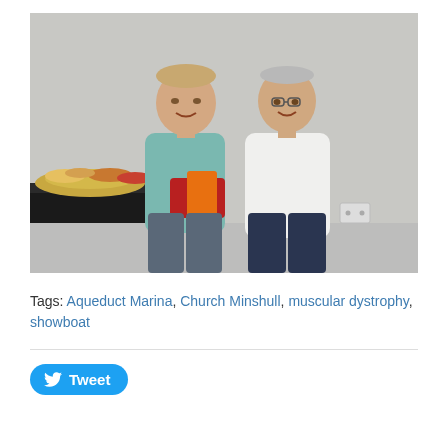[Figure (photo): Two men standing and smiling for a photo indoors. The man on the left is wearing a teal/blue v-neck sweater and holding a red and orange gift or package. The man on the right is wearing a white button-up shirt. Behind them is a table with food/snacks. The background is a plain light grey wall.]
Tags: Aqueduct Marina, Church Minshull, muscular dystrophy, showboat
Tweet